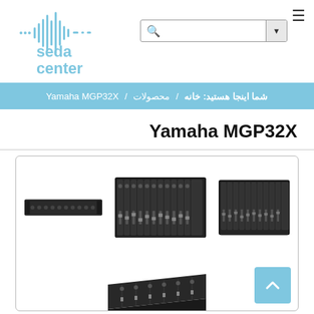[Figure (logo): Seda Center logo with sound wave graphic and text 'seda center' in blue]
[Figure (screenshot): Search box with magnifier icon and dropdown arrow]
شما اینجا هستید: خانه / محصولات / Yamaha MGP32X
Yamaha MGP32X
[Figure (photo): Product images of Yamaha MGP32X mixing console shown from multiple angles - top view horizontal, front 3/4 view, side 3/4 view, and angled profile view]